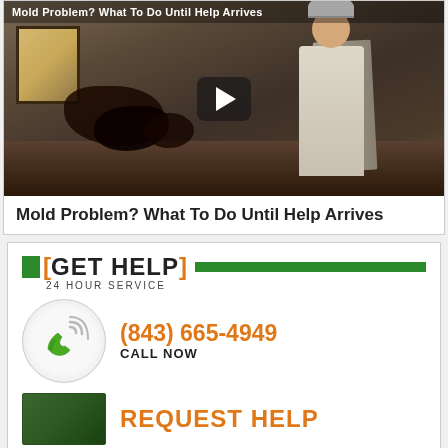[Figure (screenshot): Video thumbnail showing two workers in protective suits removing mold-damaged drywall from a room. Dark mold visible on walls and floor. Play button overlay in center. Title bar reads 'Mold Problem? What To Do Until Help Arrives']
Mold Problem? What To Do Until Help Arrives
[ GET HELP ] 24 HOUR SERVICE
(843) 665-4949 CALL NOW
REQUEST HELP